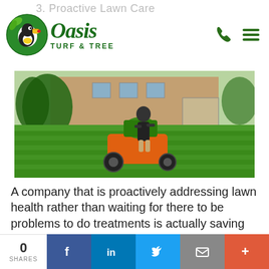3. Proactive Lawn Care
[Figure (logo): Oasis Turf & Tree logo with toucan bird icon and green text]
[Figure (photo): A lawn care technician operating an orange and green ride-on spreader/sprayer machine on a lush green lawn in front of a large brick house]
A company that is proactively addressing lawn health rather than waiting for there to be problems to do treatments is actually saving you quite a bit of money. A lot of
0 SHARES | Facebook | LinkedIn | Twitter | Email | More